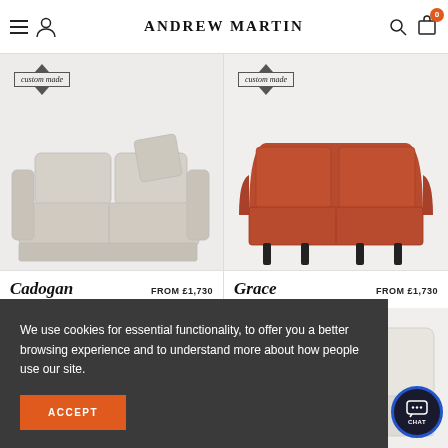ANDREW MARTIN
[Figure (photo): Beige/cream fabric sofa with scatter cushion, labeled 'custom made' with a diamond arrow badge. Product: Cadogan. FROM £1,730]
[Figure (photo): Red/terracotta velvet sofa on dark tapered legs, labeled 'custom made' with a diamond arrow badge. Product: Grace. FROM £1,730]
Cadogan FROM £1,730
Grace FROM £1,730
We use cookies for essential functionality, to offer you a better browsing experience and to understand more about how people use our site.
ACCEPT